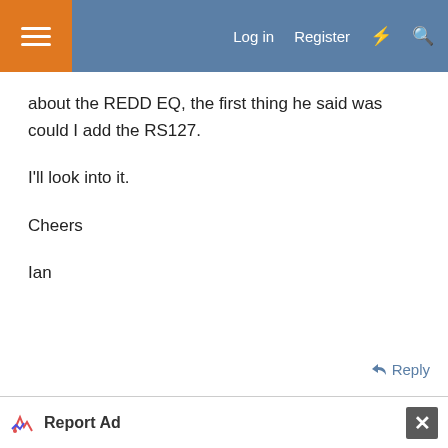Log in  Register
about the REDD EQ, the first thing he said was could I add the RS127.

I'll look into it.

Cheers

Ian
Reply
Jan 10, 2013  #6
letterbeacon
Well-known member
Report Ad